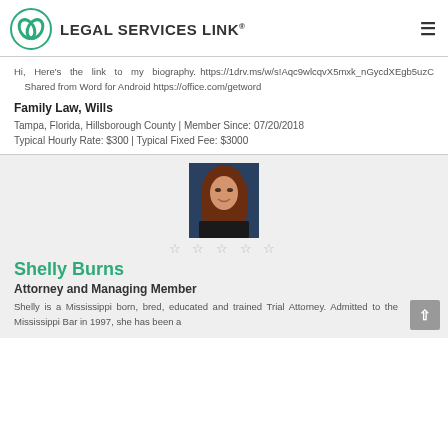LEGAL SERVICES LINK®
Hi, Here's the link to my biography. https://1drv.ms/w/s!Aqc9wlcqvX5mxk_nGycdXEgb5uzC Shared from Word for Android https://office.com/getword
Family Law, Wills
Tampa, Florida, Hillsborough County | Member Since: 07/20/2018
Typical Hourly Rate: $300 | Typical Fixed Fee: $3000
[Figure (photo): Profile photo of Shelly Burns, a woman with red-brown hair, smiling, against a dark blue background]
Shelly Burns
Attorney and Managing Member
Shelly is a Mississippi born, bred, educated and trained Trial Attorney. Admitted to the Mississippi Bar in 1997, she has been a